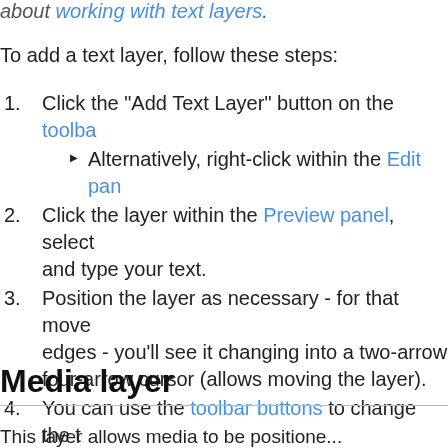about working with text layers.
To add a text layer, follow these steps:
1. Click the "Add Text Layer" button on the toolbar
Alternatively, right-click within the Edit panel
2. Click the layer within the Preview panel, select and type your text.
3. Position the layer as necessary - for that move edges - you'll see it changing into a two-arrow four-arrow cursor (allows moving the layer).
4. You can use the toolbar buttons to change the t
5. To fine-tune any of the layer options, click the [icon] you can set a border, a gradient fill and / or a sh
Media layer
This layer allows media to be positioned...